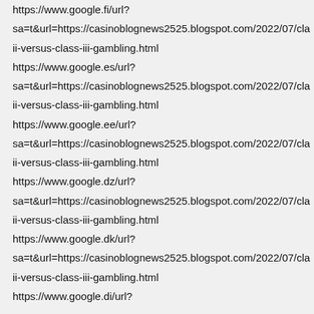https://www.google.fi/url?
sa=t&url=https://casinoblognews2525.blogspot.com/2022/07/cla
ii-versus-class-iii-gambling.html
https://www.google.es/url?
sa=t&url=https://casinoblognews2525.blogspot.com/2022/07/cla
ii-versus-class-iii-gambling.html
https://www.google.ee/url?
sa=t&url=https://casinoblognews2525.blogspot.com/2022/07/cla
ii-versus-class-iii-gambling.html
https://www.google.dz/url?
sa=t&url=https://casinoblognews2525.blogspot.com/2022/07/cla
ii-versus-class-iii-gambling.html
https://www.google.dk/url?
sa=t&url=https://casinoblognews2525.blogspot.com/2022/07/cla
ii-versus-class-iii-gambling.html
https://www.google.di/url?